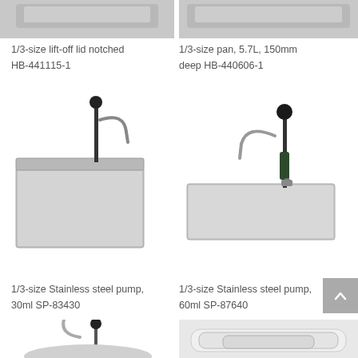[Figure (photo): 1/3-size lift-off lid notched stainless steel product, top portion visible at top-left]
[Figure (photo): 1/3-size pan stainless steel product, top portion visible at top-right]
1/3-size lift-off lid notched HB-441115-1
1/3-size pan, 5.7L, 150mm deep HB-440606-1
[Figure (photo): 1/3-size Stainless steel pump 30ml SP-83430, showing pump mounted on a stainless steel pan with spout]
[Figure (photo): 1/3-size Stainless steel pump 60ml SP-87640, showing pump on flat stainless steel plate with spout]
1/3-size Stainless steel pump, 30ml SP-83430
1/3-size Stainless steel pump, 60ml SP-87640
[Figure (photo): Bottom-left partial image showing a stainless steel pump with a curved spout and pump rod, no pan visible]
[Figure (photo): Bottom-right partial image showing stainless steel lids/pans in white/silver tones, partially cropped]